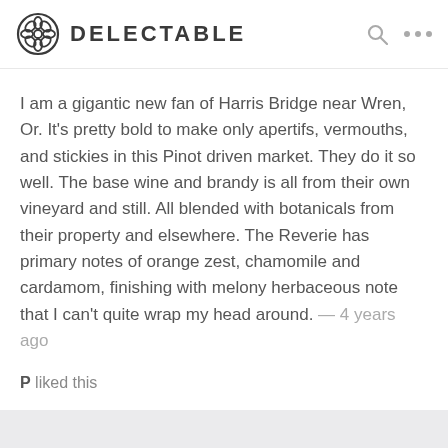DELECTABLE
I am a gigantic new fan of Harris Bridge near Wren, Or. It’s pretty bold to make only apertifs, vermouths, and stickies in this Pinot driven market. They do it so well. The base wine and brandy is all from their own vineyard and still. All blended with botanicals from their property and elsewhere. The Reverie has primary notes of orange zest, chamomile and cardamom, finishing with melony herbaceous note that I can’t quite wrap my head around. — 4 years ago
P liked this